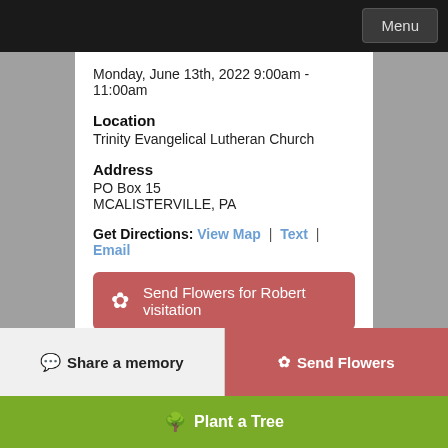Menu
Monday, June 13th, 2022 9:00am - 11:00am
Location
Trinity Evangelical Lutheran Church
Address
PO Box 15
MCALISTERVILLE, PA
Get Directions: View Map | Text | Email
Send Flowers for Robert visitation
Service
Share a memory
Send Flowers
Plant a Tree